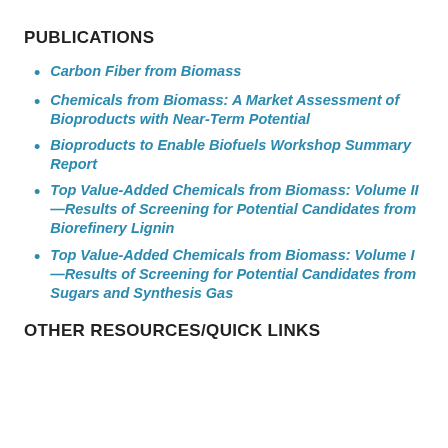PUBLICATIONS
Carbon Fiber from Biomass
Chemicals from Biomass: A Market Assessment of Bioproducts with Near-Term Potential
Bioproducts to Enable Biofuels Workshop Summary Report
Top Value-Added Chemicals from Biomass: Volume II—Results of Screening for Potential Candidates from Biorefinery Lignin
Top Value-Added Chemicals from Biomass: Volume I—Results of Screening for Potential Candidates from Sugars and Synthesis Gas
OTHER RESOURCES/QUICK LINKS